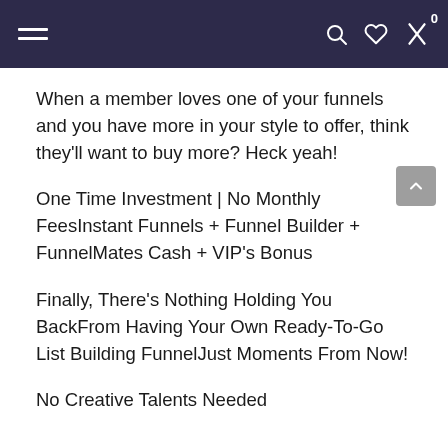Navigation bar with hamburger menu, search, heart/wishlist, and cart (0) icons
When a member loves one of your funnels and you have more in your style to offer, think they'll want to buy more? Heck yeah!
One Time Investment | No Monthly FeesInstant Funnels + Funnel Builder + FunnelMates Cash + VIP's Bonus
Finally, There's Nothing Holding You BackFrom Having Your Own Ready-To-Go List Building FunnelJust Moments From Now!
No Creative Talents Needed